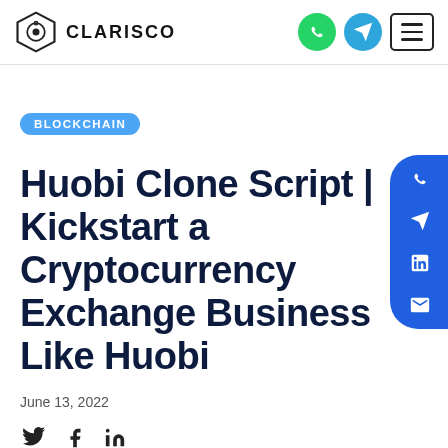CLARISCO
BLOCKCHAIN
Huobi Clone Script | Kickstart a Cryptocurrency Exchange Business Like Huobi
June 13, 2022